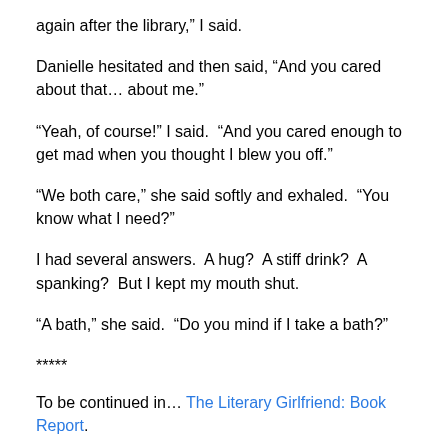again after the library,” I said.
Danielle hesitated and then said, “And you cared about that… about me.”
“Yeah, of course!” I said.  “And you cared enough to get mad when you thought I blew you off.”
“We both care,” she said softly and exhaled.  “You know what I need?”
I had several answers.  A hug?  A stiff drink?  A spanking?  But I kept my mouth shut.
“A bath,” she said.  “Do you mind if I take a bath?”
*****
To be continued in… The Literary Girlfriend: Book Report.